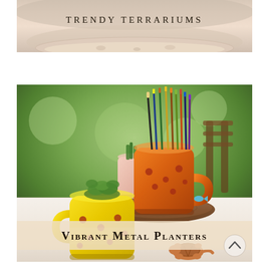[Figure (photo): Top portion of a terrarium image with glass bowl and sandy/rocky interior, cropped at top. Text overlay reads 'TRENDY TERRARIUMS' in small caps serif font.]
[Figure (photo): Photo of colorful metal mug-shaped planters on a white table. A yellow polka-dot mug planter in foreground contains a succulent, an orange polka-dot mug holds paintbrushes and pens, and a small pink mug holds a small cactus. Blurred green outdoor background. Text overlay at bottom reads 'VIBRANT METAL PLANTERS' in bold small caps. A scroll-up chevron button is visible at bottom right.]